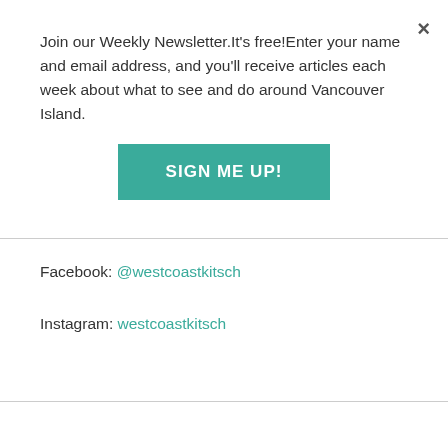×
Join our Weekly Newsletter.It's free!Enter your name and email address, and you'll receive articles each week about what to see and do around Vancouver Island.
SIGN ME UP!
Facebook: @westcoastkitsch
Instagram: westcoastkitsch